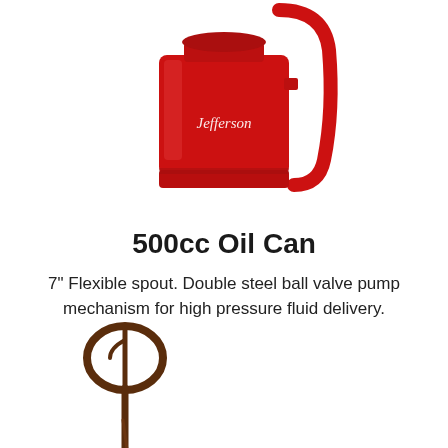[Figure (photo): A red Jefferson branded 500cc oil can with a curved handle, shown from above at an angle. Only the top portion of the can is visible, cropped at the top of the page.]
500cc Oil Can
7" Flexible spout. Double steel ball valve pump mechanism for high pressure fluid delivery.
[Figure (photo): A dark brown/rust colored mixing paddle or stirring whisk tool shown from above, with a circular loop at the top and a long thin handle extending downward.]